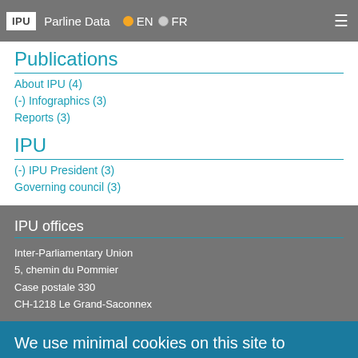IPU  Parline Data  EN  FR
Publications
About IPU (4)
(-) Infographics (3)
Reports (3)
IPU
(-) IPU President (3)
Governing council (3)
IPU offices
Inter-Parliamentary Union
5, chemin du Pommier
Case postale 330
CH-1218 Le Grand-Saconnex
We use minimal cookies on this site to enhance your user experience and record anonymous usage with Google Analytics